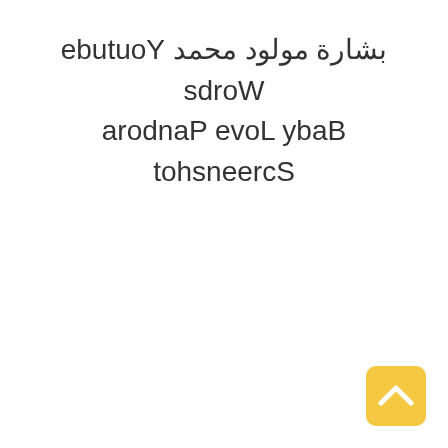بشارة مولود محمد Youtube Words Baby Love Pandora Screenshot
[Figure (other): Yellow/golden rounded square button with a white upward-pointing chevron/caret icon, positioned in the bottom-right corner of the page]